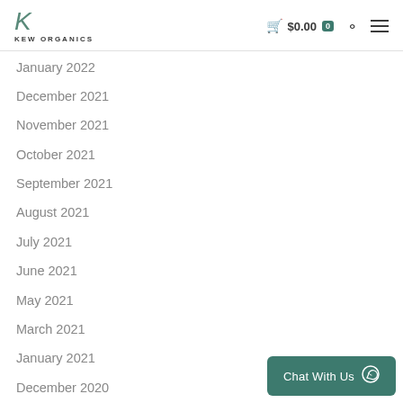KEW ORGANICS | $0.00 | 0
January 2022
December 2021
November 2021
October 2021
September 2021
August 2021
July 2021
June 2021
May 2021
March 2021
January 2021
December 2020
Chat With Us